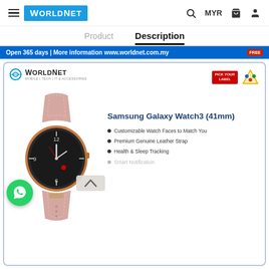WorldNet — MYR
Product | Description
Open 365 days | More information www.worldnet.com.my
[Figure (screenshot): Product description card for Samsung Galaxy Watch3 (41mm) with WorldNet branding, showing the smartwatch image with pink leather strap, bullet features: Customizable Watch Faces to Match You, Premium Genuine Leather Strap, Health & Sleep Tracking, Smart Notification. WhatsApp button overlay on bottom left of watch image.]
Samsung Galaxy Watch3 (41mm)
Customizable Watch Faces to Match You
Premium Genuine Leather Strap
Health & Sleep Tracking
Smart Notification